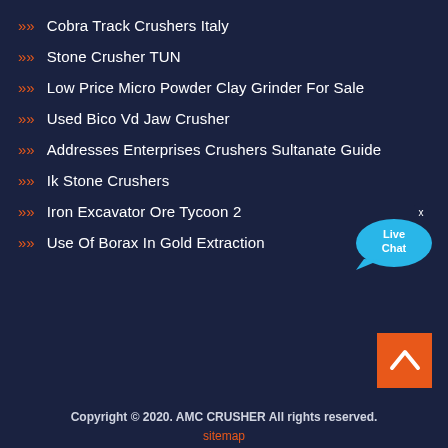Cobra Track Crushers Italy
Stone Crusher TUN
Low Price Micro Powder Clay Grinder For Sale
Used Bico Vd Jaw Crusher
Addresses Enterprises Crushers Sultanate Guide
Ik Stone Crushers
Iron Excavator Ore Tycoon 2
Use Of Borax In Gold Extraction
[Figure (illustration): Live Chat badge bubble in blue]
[Figure (illustration): Back to top orange button with upward chevron]
Copyright © 2020. AMC CRUSHER All rights reserved.
sitemap